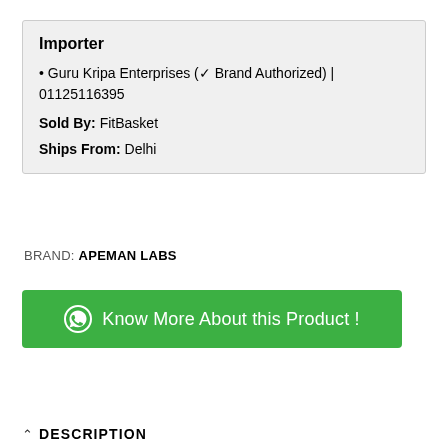Importer
• Guru Kripa Enterprises (✓ Brand Authorized) | 01125116395
Sold By: FitBasket
Ships From: Delhi
BRAND: APEMAN LABS
[Figure (other): Green WhatsApp button with icon and text: Know More About this Product !]
^ DESCRIPTION